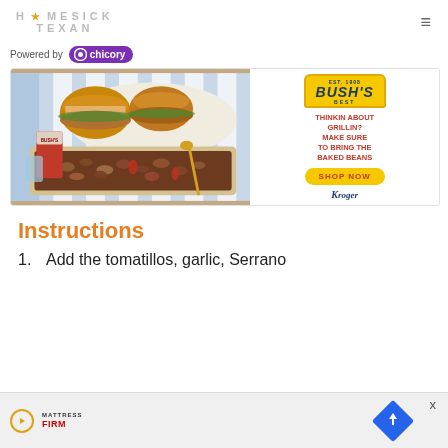HOMESICK TEXAN
Powered by chicory
[Figure (photo): Bush's Best baked beans advertisement with food photo showing burgers and baked beans dish, with text: THINKIN ABOUT GRILLIN? MAKE SURE TO BRING THE BAKED BEANS, SHOP NOW, Kroger]
Instructions
Add the tomatillos, garlic, Serrano
[Figure (photo): Mattress Firm advertisement banner at bottom of page]